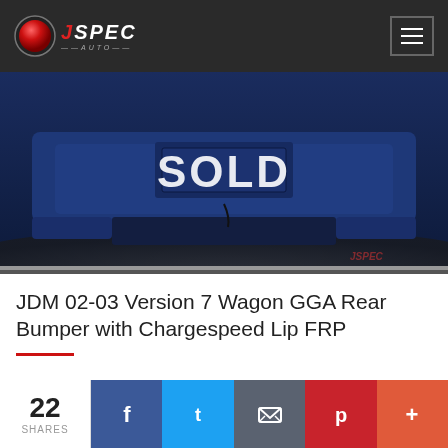[Figure (logo): J-Spec Auto logo with red circle and stylized text]
[Figure (photo): JDM blue rear bumper with Chargespeed lip, marked SOLD]
JDM 02-03 Version 7 Wagon GGA Rear Bumper with Chargespeed Lip FRP
22 SHARES
[Figure (infographic): Social share buttons: Facebook, Twitter, Email, Pinterest, More]